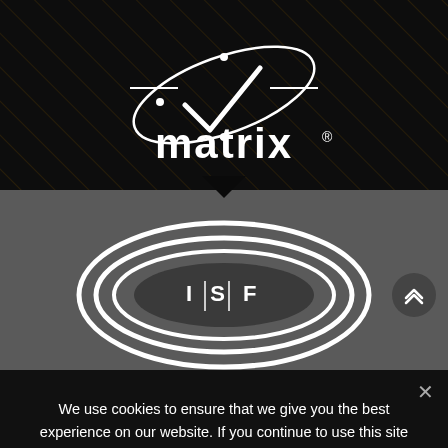[Figure (logo): Matrix logo with white orbital/atom graphic and 'matrix' wordmark with registered trademark symbol on dark background with diagonal line pattern]
[Figure (logo): ISF (Imaging Science Foundation) logo — concentric oval rings with 'I S F' text in center on gray background]
For further information on the Institute of Screen...
We use cookies to ensure that we give you the best experience on our website. If you continue to use this site we will assume that you are happy with it.
Ok